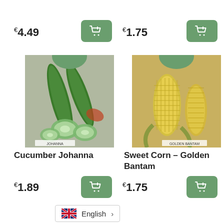€4.49
€1.75
[Figure (photo): Seed packet product image for Cucumber Johanna showing sliced and whole cucumbers]
[Figure (photo): Seed packet product image for Sweet Corn Golden Bantam showing yellow corn cobs]
Cucumber Johanna
Sweet Corn – Golden Bantam
€1.89
€1.75
English >